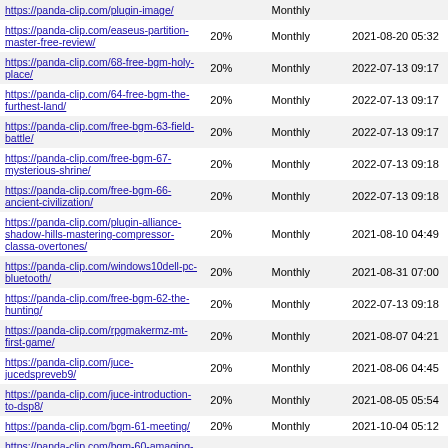| URL | Priority | Change Frequency | Last Modified |
| --- | --- | --- | --- |
| https://panda-clip.com/plugin-image/ |  | Monthly |  |
| https://panda-clip.com/easeus-partition-master-free-review/ | 20% | Monthly | 2021-08-20 05:32 |
| https://panda-clip.com/68-free-bgm-holy-place/ | 20% | Monthly | 2022-07-13 09:17 |
| https://panda-clip.com/64-free-bgm-the-furthest-land/ | 20% | Monthly | 2022-07-13 09:17 |
| https://panda-clip.com/free-bgm-63-field-battle/ | 20% | Monthly | 2022-07-13 09:17 |
| https://panda-clip.com/free-bgm-67-mysterious-shrine/ | 20% | Monthly | 2022-07-13 09:18 |
| https://panda-clip.com/free-bgm-66-ancient-civilization/ | 20% | Monthly | 2022-07-13 09:18 |
| https://panda-clip.com/plugin-alliance-shadow-hills-mastering-compressor-classa-overtones/ | 20% | Monthly | 2021-08-10 04:49 |
| https://panda-clip.com/windows10dell-pc-bluetooth/ | 20% | Monthly | 2021-08-31 07:00 |
| https://panda-clip.com/free-bgm-62-the-hunting/ | 20% | Monthly | 2022-07-13 09:18 |
| https://panda-clip.com/rpgmakermz-mt-first-game/ | 20% | Monthly | 2021-08-07 04:21 |
| https://panda-clip.com/juce-jucedspreveb9/ | 20% | Monthly | 2021-08-06 04:45 |
| https://panda-clip.com/juce-introduction-to-dsp8/ | 20% | Monthly | 2021-08-05 05:54 |
| https://panda-clip.com/bgm-61-meeting/ | 20% | Monthly | 2021-10-04 05:12 |
| https://panda-clip.com/bgm-60-amaging-grace/ | 20% | Monthly | 2021-10-04 05:12 |
| https://panda-clip.com/juce-introduction-to-dsplfo7/ | 20% | Monthly | 2021-08-03 08:54 |
| https://panda-clip.com/juce-introduction-to-dsp6/ | 20% | Monthly | 2021-08-02 07:41 |